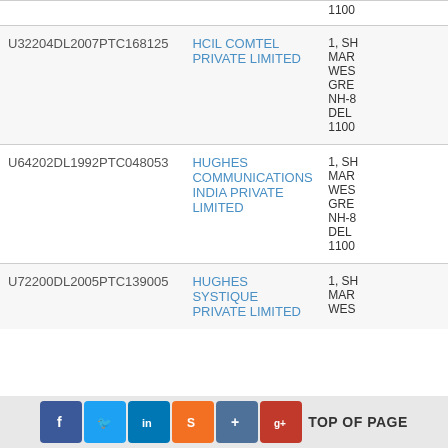| CIN | Company Name | Address |
| --- | --- | --- |
|  |  | 1100 |
| U32204DL2007PTC168125 | HCIL COMTEL PRIVATE LIMITED | 1, SH MAR WES GRE NH-8 DEL 1100 |
| U64202DL1992PTC048053 | HUGHES COMMUNICATIONS INDIA PRIVATE LIMITED | 1, SH MAR WES GRE NH-8 DEL 1100 |
| U72200DL2005PTC139005 | HUGHES SYSTIQUE PRIVATE LIMITED | 1, SH MAR WES |
TOP OF PAGE